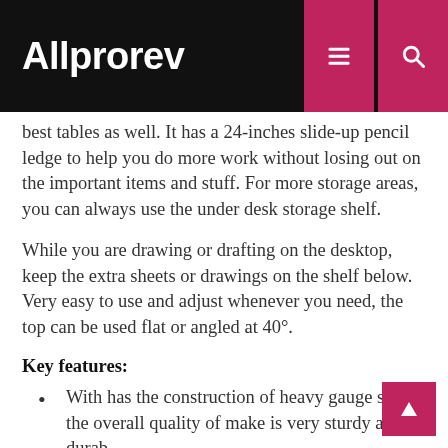Allprorev
best tables as well. It has a 24-inches slide-up pencil ledge to help you do more work without losing out on the important items and stuff. For more storage areas, you can always use the under desk storage shelf.
While you are drawing or drafting on the desktop, keep the extra sheets or drawings on the shelf below. Very easy to use and adjust whenever you need, the top can be used flat or angled at 40°.
Key features:
With has the construction of heavy gauge steel, the overall quality of make is very sturdy and durable.
It comes with an included padded stool so that your comfort is never compromised in any way.